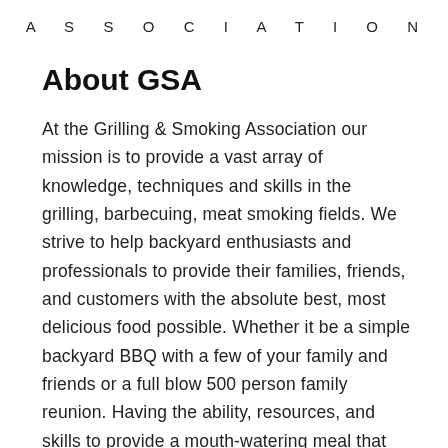ASSOCIATION
About GSA
At the Grilling & Smoking Association our mission is to provide a vast array of knowledge, techniques and skills in the grilling, barbecuing, meat smoking fields. We strive to help backyard enthusiasts and professionals to provide their families, friends, and customers with the absolute best, most delicious food possible. Whether it be a simple backyard BBQ with a few of your family and friends or a full blow 500 person family reunion. Having the ability, resources, and skills to provide a mouth-watering meal that puts smiles on the faces of the people around you, family that is...